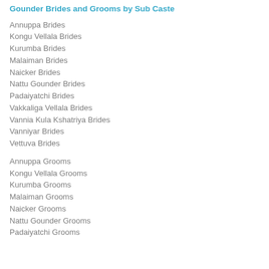Gounder Brides and Grooms by Sub Caste
Annuppa Brides
Kongu Vellala Brides
Kurumba Brides
Malaiman Brides
Naicker Brides
Nattu Gounder Brides
Padaiyatchi Brides
Vakkaliga Vellala Brides
Vannia Kula Kshatriya Brides
Vanniyar Brides
Vettuva Brides
Annuppa Grooms
Kongu Vellala Grooms
Kurumba Grooms
Malaiman Grooms
Naicker Grooms
Nattu Gounder Grooms
Padaiyatchi Grooms